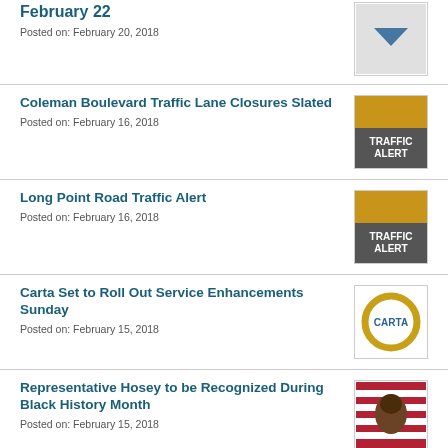February 22
Posted on: February 20, 2018
Coleman Boulevard Traffic Lane Closures Slated
Posted on: February 16, 2018
[Figure (photo): Traffic Alert sign]
Long Point Road Traffic Alert
Posted on: February 16, 2018
[Figure (photo): Traffic Alert sign]
Carta Set to Roll Out Service Enhancements Sunday
Posted on: February 15, 2018
[Figure (logo): CARTA logo - circular gold ring with CARTA text]
Representative Hosey to be Recognized During Black History Month
Posted on: February 15, 2018
[Figure (photo): Portrait of Representative Hosey against American flag background]
Home2 Suites Holds Grand Opening